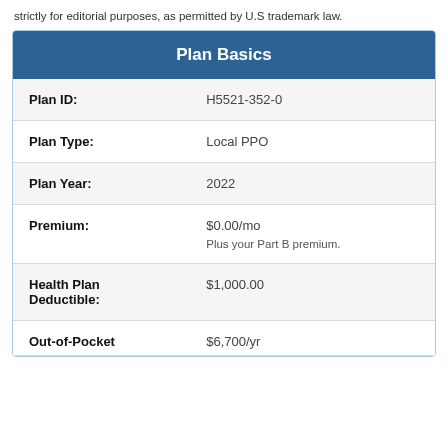strictly for editorial purposes, as permitted by U.S trademark law.
| Field | Value |
| --- | --- |
| Plan ID: | H5521-352-0 |
| Plan Type: | Local PPO |
| Plan Year: | 2022 |
| Premium: | $0.00/mo
Plus your Part B premium. |
| Health Plan Deductible: | $1,000.00 |
| Out-of-Pocket | $6,700/yr |